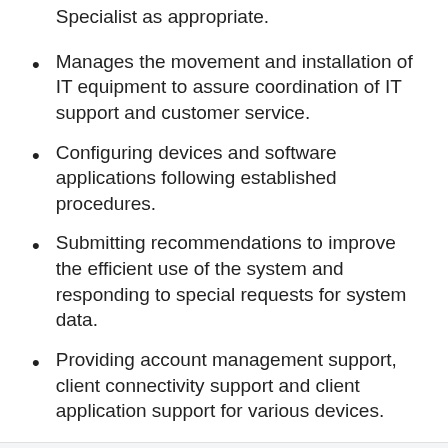Specialist as appropriate.
Manages the movement and installation of IT equipment to assure coordination of IT support and customer service.
Configuring devices and software applications following established procedures.
Submitting recommendations to improve the efficient use of the system and responding to special requests for system data.
Providing account management support, client connectivity support and client application support for various devices.
Requirements
Conditions of Employment